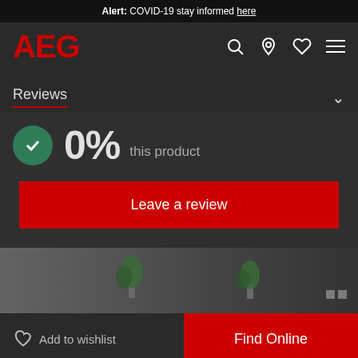Alert: COVID-19 stay informed here
[Figure (logo): AEG logo in red with navigation icons (search, location, heart, menu)]
Reviews
0% this product
Leave a review
[Figure (photo): Kitchen scene with potted plants on a dark counter]
Add to wishlist
Find Online